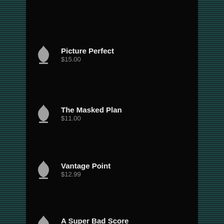Picture Perfect
$15.00
The Masked Plan
$11.00
Vantage Point
$12.99
A Super Bad Score
$13.99
The Doll Trap Part 2
$23.99
O.K. KO!
$12.00